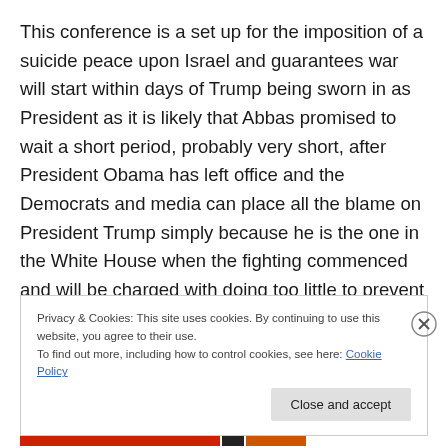This conference is a set up for the imposition of a suicide peace upon Israel and guarantees war will start within days of Trump being sworn in as President as it is likely that Abbas promised to wait a short period, probably very short, after President Obama has left office and the Democrats and media can place all the blame on President Trump simply because he is the one in the White House when the fighting commenced and will be charged with doing too little to prevent any Israeli response. That is all the world cares about any longer,
Privacy & Cookies: This site uses cookies. By continuing to use this website, you agree to their use.
To find out more, including how to control cookies, see here: Cookie Policy